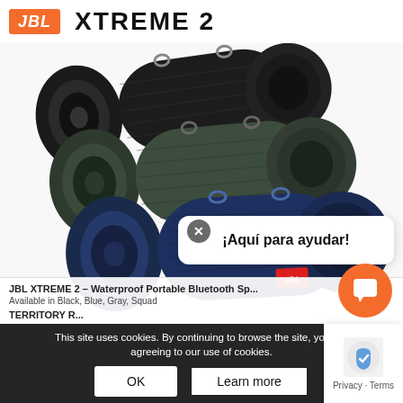[Figure (logo): JBL orange logo in red-orange box with italic bold white text]
XTREME 2
[Figure (photo): Three JBL Xtreme 2 portable Bluetooth speakers in black, dark green/grey, and blue, shown stacked diagonally from back to front on white background]
¡Aquí para ayudar!
JBL XTREME 2 – Waterproof Portable Bluetooth Speaker
Available in Black, Blue, Gray, Squad
TERRITORY R...
This site uses cookies. By continuing to browse the site, you are agreeing to our use of cookies.